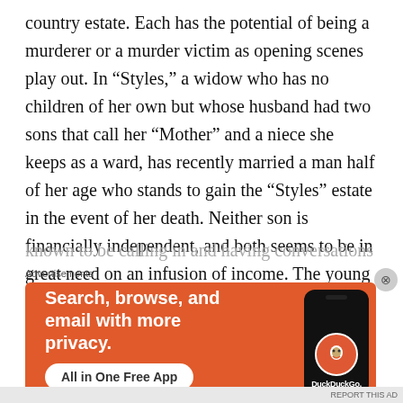country estate. Each has the potential of being a murderer or a murder victim as opening scenes play out. In “Styles,” a widow who has no children of her own but whose husband had two sons that call her “Mother” and a niece she keeps as a ward, has recently married a man half of her age who stands to gain the “Styles” estate in the event of her death. Neither son is financially independent, and both seems to be in great need on an infusion of income. The young husband dresses and is groomed unusually for the George V era (1920) and has a decidedly sinister cast to him. Besides, he has been known to visit and is
Advertisements
[Figure (other): DuckDuckGo advertisement banner: orange background showing phone mockup with DuckDuckGo logo, text reading 'Search, browse, and email with more privacy.' and button 'All in One Free App']